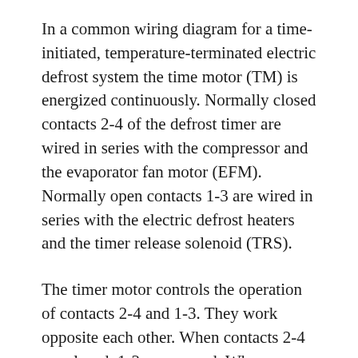In a common wiring diagram for a time-initiated, temperature-terminated electric defrost system the time motor (TM) is energized continuously. Normally closed contacts 2-4 of the defrost timer are wired in series with the compressor and the evaporator fan motor (EFM). Normally open contacts 1-3 are wired in series with the electric defrost heaters and the timer release solenoid (TRS).
The timer motor controls the operation of contacts 2-4 and 1-3. They work opposite each other. When contacts 2-4 are closed, 1-3 are opened. When contacts 2-4 are opened, 1-3 are closed. When the timer motor initiates a